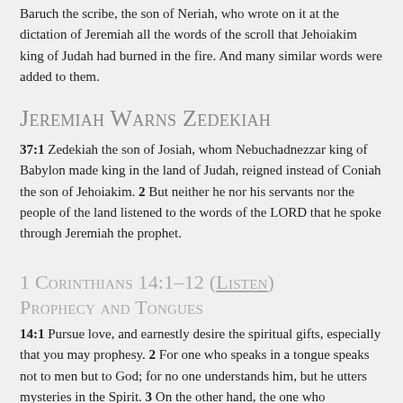Baruch the scribe, the son of Neriah, who wrote on it at the dictation of Jeremiah all the words of the scroll that Jehoiakim king of Judah had burned in the fire. And many similar words were added to them.
Jeremiah Warns Zedekiah
37:1 Zedekiah the son of Josiah, whom Nebuchadnezzar king of Babylon made king in the land of Judah, reigned instead of Coniah the son of Jehoiakim. 2 But neither he nor his servants nor the people of the land listened to the words of the LORD that he spoke through Jeremiah the prophet.
1 Corinthians 14:1–12 (Listen) Prophecy and Tongues
14:1 Pursue love, and earnestly desire the spiritual gifts, especially that you may prophesy. 2 For one who speaks in a tongue speaks not to men but to God; for no one understands him, but he utters mysteries in the Spirit. 3 On the other hand, the one who prophesies speaks to people for their upbuilding and encouragement and consolation. 4 The one who...